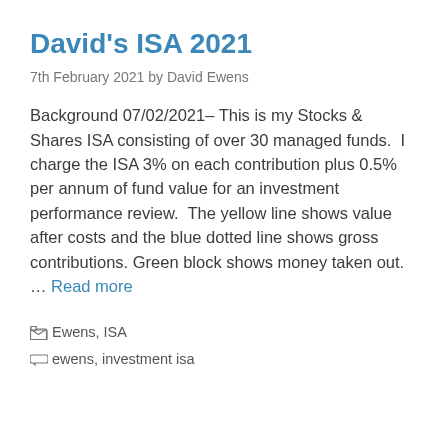David's ISA 2021
7th February 2021 by David Ewens
Background 07/02/2021– This is my Stocks & Shares ISA consisting of over 30 managed funds.  I charge the ISA 3% on each contribution plus 0.5% per annum of fund value for an investment performance review.  The yellow line shows value after costs and the blue dotted line shows gross contributions. Green block shows money taken out. … Read more
Ewens, ISA
ewens, investment isa